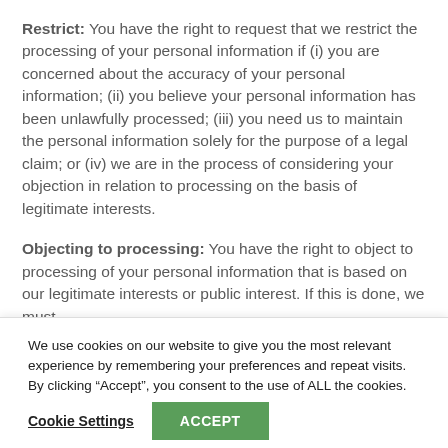Restrict: You have the right to request that we restrict the processing of your personal information if (i) you are concerned about the accuracy of your personal information; (ii) you believe your personal information has been unlawfully processed; (iii) you need us to maintain the personal information solely for the purpose of a legal claim; or (iv) we are in the process of considering your objection in relation to processing on the basis of legitimate interests.
Objecting to processing: You have the right to object to processing of your personal information that is based on our legitimate interests or public interest. If this is done, we must
We use cookies on our website to give you the most relevant experience by remembering your preferences and repeat visits. By clicking “Accept”, you consent to the use of ALL the cookies.
Cookie Settings
ACCEPT